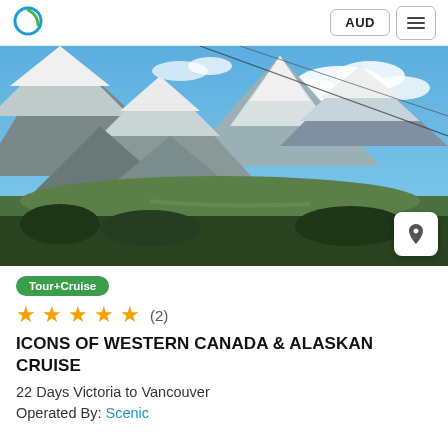AUD  ☰
[Figure (photo): Aerial view of snow-capped Rocky Mountains with green valleys below and cable car wires visible, blue sky with clouds]
Tour+Cruise
★★★★★ (2)
ICONS OF WESTERN CANADA & ALASKAN CRUISE
22 Days Victoria to Vancouver
Operated By: Scenic